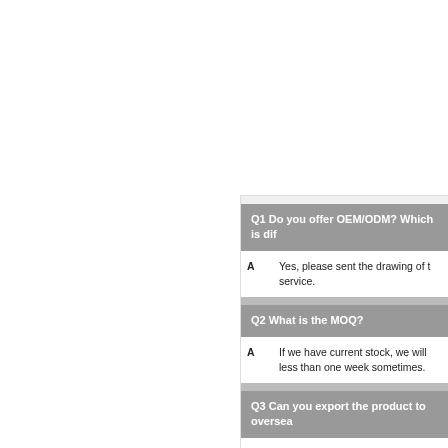Q1　Do you offer OEM/ODM? Which is dif...
A　  Yes, please sent the drawing of ... service.
Q2　What is the MOQ?
A　  If we have current stock, we will ... less than one week sometimes.
Q3　Can you export the product to oversea...
A　  Yes, we have customers in Japa... customers, we even ship the go...